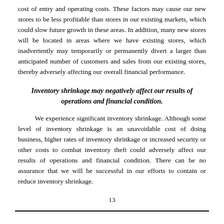cost of entry and operating costs. These factors may cause our new stores to be less profitable than stores in our existing markets, which could slow future growth in these areas. In addition, many new stores will be located in areas where we have existing stores, which inadvertently may temporarily or permanently divert a larger than anticipated number of customers and sales from our existing stores, thereby adversely affecting our overall financial performance.
Inventory shrinkage may negatively affect our results of operations and financial condition.
We experience significant inventory shrinkage. Although some level of inventory shrinkage is an unavoidable cost of doing business, higher rates of inventory shrinkage or increased security or other costs to combat inventory theft could adversely affect our results of operations and financial condition. There can be no assurance that we will be successful in our efforts to contain or reduce inventory shrinkage.
13